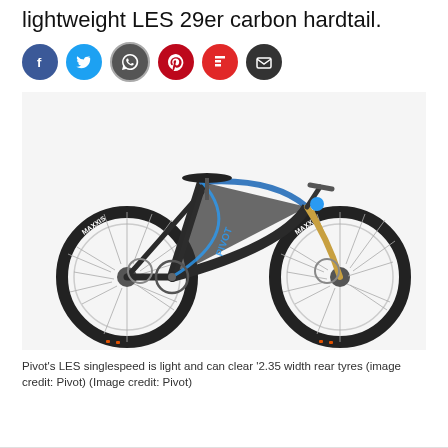lightweight LES 29er carbon hardtail.
[Figure (illustration): Six social media sharing icons in circles: Facebook (dark blue), Twitter (light blue), WhatsApp (dark/grey), Pinterest (red), Flipboard (red), Email (dark grey)]
[Figure (photo): Pivot LES singlespeed mountain bike, dark grey/carbon frame with blue accents, gold fork, Maxxis tyres, 29er wheels, on white background.]
Pivot's LES singlespeed is light and can clear '2.35 width rear tyres (image credit: Pivot) (Image credit: Pivot)